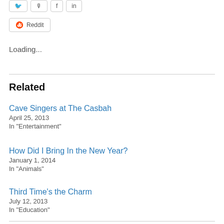[Figure (screenshot): Row of share buttons (Twitter, podcast, Facebook, LinkedIn icons)]
[Figure (screenshot): Reddit share button with alien icon]
Loading...
Related
Cave Singers at The Casbah
April 25, 2013
In "Entertainment"
How Did I Bring In the New Year?
January 1, 2014
In "Animals"
Third Time's the Charm
July 12, 2013
In "Education"